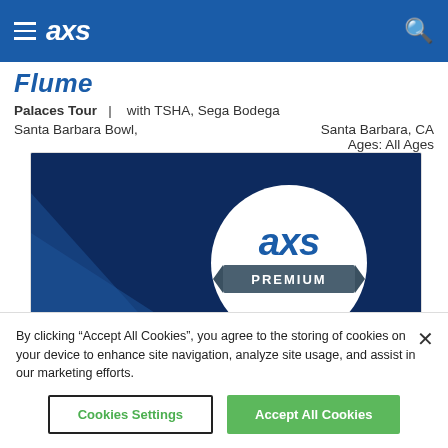axs
Flume
Palaces Tour  |  with TSHA, Sega Bodega
Santa Barbara Bowl,
Santa Barbara, CA
Ages: All Ages
[Figure (logo): AXS Premium logo on dark blue background with white circle]
By clicking “Accept All Cookies”, you agree to the storing of cookies on your device to enhance site navigation, analyze site usage, and assist in our marketing efforts.
Cookies Settings
Accept All Cookies